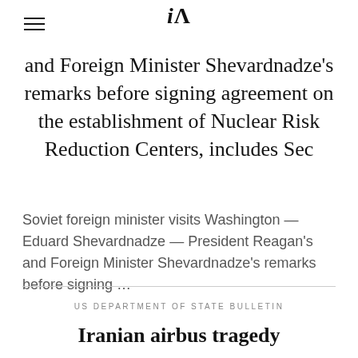iA
and Foreign Minister Shevardnadze's remarks before signing agreement on the establishment of Nuclear Risk Reduction Centers, includes Sec
Soviet foreign minister visits Washington — Eduard Shevardnadze — President Reagan's and Foreign Minister Shevardnadze's remarks before signing …
US DEPARTMENT OF STATE BULLETIN
Iranian airbus tragedy